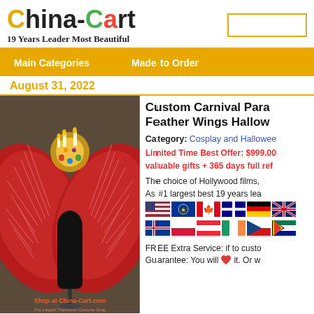China-Cart
19 Years Leader Most Beautiful
Main Categories   Made to Order
August 31, 2022
[Figure (photo): Mannequin wearing large red feather wings with ornate gold chandelier headpiece, displayed against a dark background. Shop at China-Cart.com branding overlay.]
Custom Carnival Para Feather Wings Hallow
Category: Cosplay and Halloween
Limited Time Best Offer: $999.00 valuable gifts + 365 days full ref
The choice of Hollywood films,
As #1 largest best 19 years lea
[Figure (infographic): Row of country flags: USA, EU, Canada, Australia, Germany, UK, Iceland, Poland, Austria, Ireland, Czech Republic, South Africa]
FREE Extra Service: if to custo
Guarantee: You will ❤ it. Or w